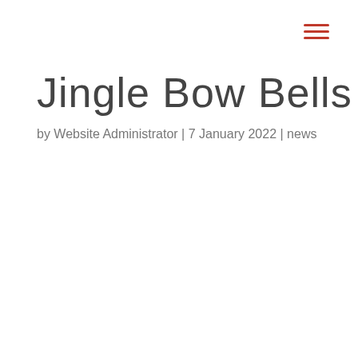Jingle Bow Bells
by Website Administrator | 7 January 2022 | news